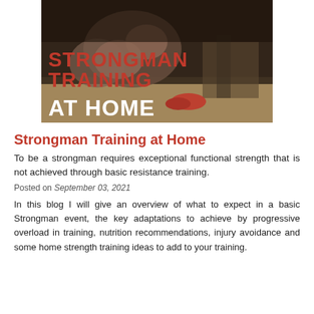[Figure (photo): A muscular man training in a home gym, with text overlay reading STRONGMAN TRAINING in red and AT HOME in white bold letters]
Strongman Training at Home
To be a strongman requires exceptional functional strength that is not achieved through basic resistance training.
Posted on September 03, 2021
In this blog I will give an overview of what to expect in a basic Strongman event, the key adaptations to achieve by progressive overload in training, nutrition recommendations, injury avoidance and some home strength training ideas to add to your training.